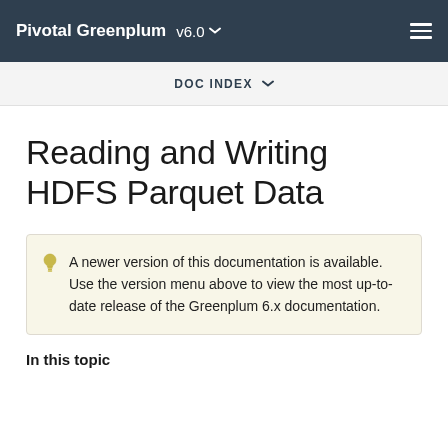Pivotal Greenplum v6.0
DOC INDEX
Reading and Writing HDFS Parquet Data
A newer version of this documentation is available. Use the version menu above to view the most up-to-date release of the Greenplum 6.x documentation.
In this topic